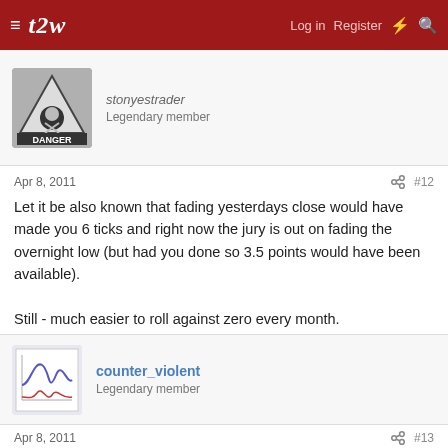t2w | Log in | Register
Legendary member
Apr 8, 2011  #12
Let it be also known that fading yesterdays close would have made you 6 ticks and right now the jury is out on fading the overnight low (but had you done so 3.5 points would have been available).

Still - much easier to roll against zero every month.
counter_violent
Legendary member
Apr 8, 2011  #13